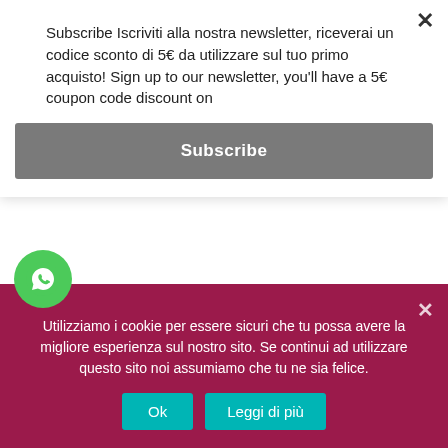Subscribe Iscriviti alla nostra newsletter, riceverai un codice sconto di 5€ da utilizzare sul tuo primo acquisto! Sign up to our newsletter, you'll have a 5€ coupon code discount on
Subscribe
[Figure (photo): Two dark wine bottles (Castell'in Villa) displayed side by side, each with an 'Out of stock' badge overlay]
Utilizziamo i cookie per essere sicuri che tu possa avere la migliore esperienza sul nostro sito. Se continui ad utilizzare questo sito noi assumiamo che tu ne sia felice.
Ok
Leggi di più